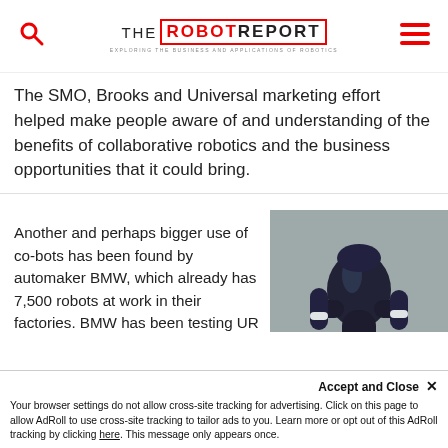THE ROBOT REPORT — EXPLORING THE BUSINESS AND APPLICATIONS OF ROBOTICS
The SMO, Brooks and Universal marketing effort helped make people aware of and understanding of the benefits of collaborative robotics and the business opportunities that it could bring.
Another and perhaps bigger use of co-bots has been found by automaker BMW, which already has 7,500 robots at work in their factories. BMW has been testing UR robots alongside factory workers who had been tasked with ergonomically-challenging assignments. The robots were quickly trained for those tasks and performed perfectly while freeing up the
[Figure (photo): Close-up photo of a robotic arm with black finish and an orange band/ring at a joint, against a grey background]
Accept and Close ✕
Your browser settings do not allow cross-site tracking for advertising. Click on this page to allow AdRoll to use cross-site tracking to tailor ads to you. Learn more or opt out of this AdRoll tracking by clicking here. This message only appears once.